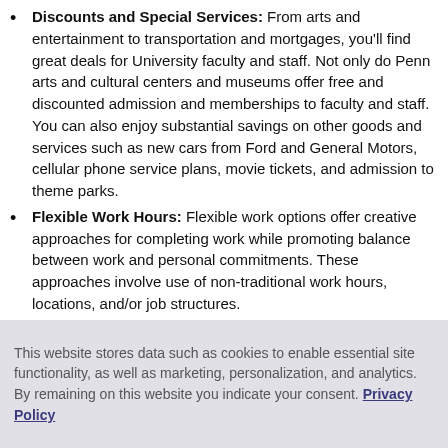Discounts and Special Services: From arts and entertainment to transportation and mortgages, you'll find great deals for University faculty and staff. Not only do Penn arts and cultural centers and museums offer free and discounted admission and memberships to faculty and staff. You can also enjoy substantial savings on other goods and services such as new cars from Ford and General Motors, cellular phone service plans, movie tickets, and admission to theme parks.
Flexible Work Hours: Flexible work options offer creative approaches for completing work while promoting balance between work and personal commitments. These approaches involve use of non-traditional work hours, locations, and/or job structures.
Penn Home Ownership Services: Penn offers a forgivable loan for eligible employees interested in
This website stores data such as cookies to enable essential site functionality, as well as marketing, personalization, and analytics. By remaining on this website you indicate your consent. Privacy Policy